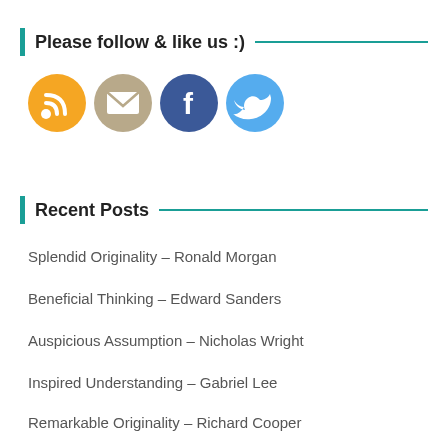Please follow & like us :)
[Figure (illustration): Four social media icons in circles: RSS feed (orange), Email (tan/gray), Facebook (dark blue), Twitter (light blue)]
Recent Posts
Splendid Originality – Ronald Morgan
Beneficial Thinking – Edward Sanders
Auspicious Assumption – Nicholas Wright
Inspired Understanding – Gabriel Lee
Remarkable Originality – Richard Cooper